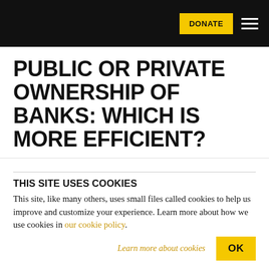DONATE | Menu
PUBLIC OR PRIVATE OWNERSHIP OF BANKS: WHICH IS MORE EFFICIENT?
BY DEVIKA DUTT
JANUARY 16, 2018
THIS SITE USES COOKIES
This site, like many others, uses small files called cookies to help us improve and customize your experience. Learn more about how we use cookies in our cookie policy.
Learn more about cookies
OK